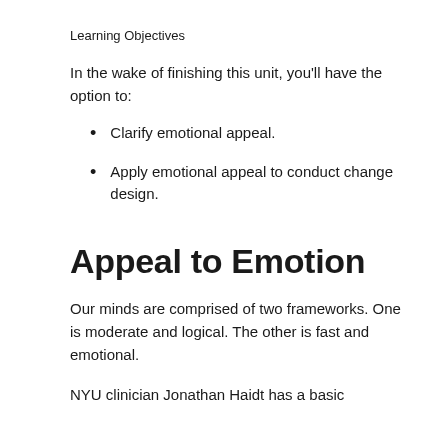Learning Objectives
In the wake of finishing this unit, you'll have the option to:
Clarify emotional appeal.
Apply emotional appeal to conduct change design.
Appeal to Emotion
Our minds are comprised of two frameworks. One is moderate and logical. The other is fast and emotional.
NYU clinician Jonathan Haidt has a basic